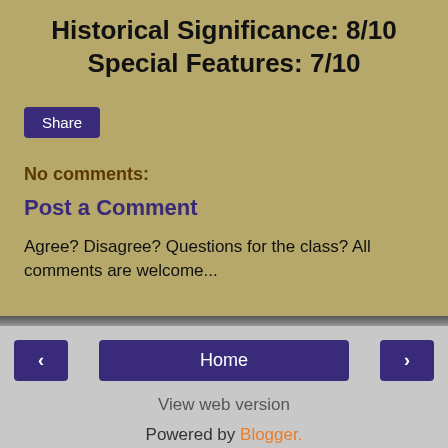Historical Significance: 8/10
Special Features: 7/10
Share
No comments:
Post a Comment
Agree? Disagree? Questions for the class? All comments are welcome...
‹
Home
›
View web version
Powered by Blogger.